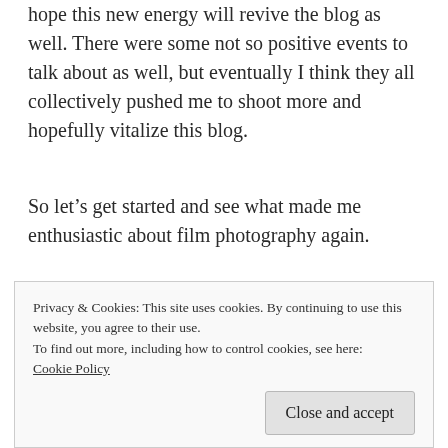hope this new energy will revive the blog as well. There were some not so positive events to talk about as well, but eventually I think they all collectively pushed me to shoot more and hopefully vitalize this blog.

So let's get started and see what made me enthusiastic about film photography again.
Negative Lab Pro
Privacy & Cookies: This site uses cookies. By continuing to use this website, you agree to their use.
To find out more, including how to control cookies, see here: Cookie Policy